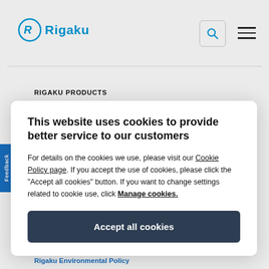[Figure (logo): Rigaku company logo with circular R symbol and blue wordmark]
RIGAKU PRODUCTS
This website uses cookies to provide better service to our customers
For details on the cookies we use, please visit our Cookie Policy page. If you accept the use of cookies, please click the "Accept all cookies" button. If you want to change settings related to cookie use, click Manage cookies.
Accept all cookies
Rigaku Environmental Policy